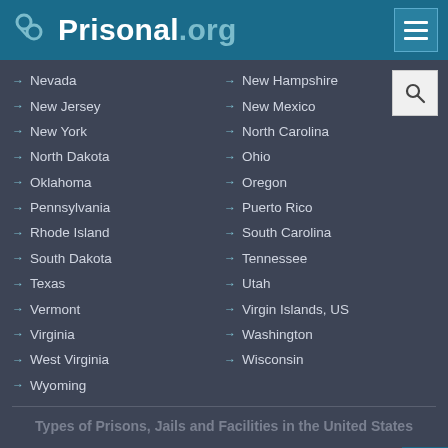Prisonal.org
Nevada
New Hampshire
New Jersey
New Mexico
New York
North Carolina
North Dakota
Ohio
Oklahoma
Oregon
Pennsylvania
Puerto Rico
Rhode Island
South Carolina
South Dakota
Tennessee
Texas
Utah
Vermont
Virgin Islands, US
Virginia
Washington
West Virginia
Wisconsin
Wyoming
Types of Prisons, Jails and Facilities in the United States